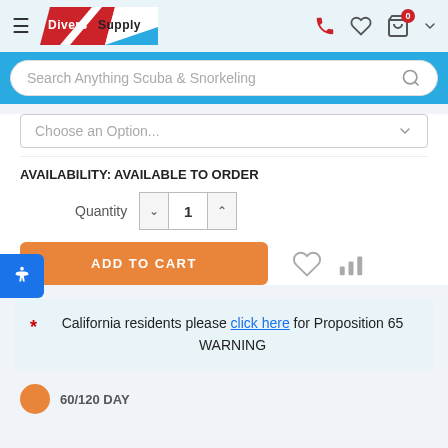[Figure (screenshot): Divers Supply website header with logo, hamburger menu, phone icon, heart icon, and shopping bag with 0 badge]
Search Anything Scuba & Snorkeling
Choose an Option...
AVAILABILITY: AVAILABLE TO ORDER
Quantity 1
ADD TO CART
* California residents please click here for Proposition 65 WARNING
60/120 DAY